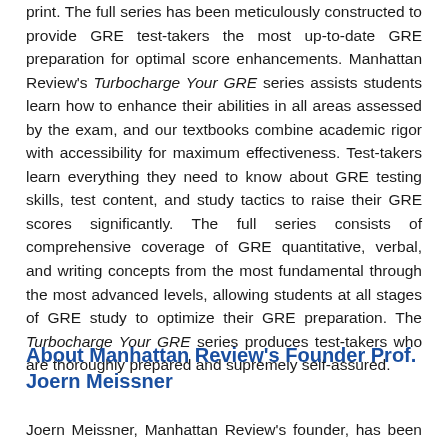print. The full series has been meticulously constructed to provide GRE test-takers the most up-to-date GRE preparation for optimal score enhancements. Manhattan Review's Turbocharge Your GRE series assists students learn how to enhance their abilities in all areas assessed by the exam, and our textbooks combine academic rigor with accessibility for maximum effectiveness. Test-takers learn everything they need to know about GRE testing skills, test content, and study tactics to raise their GRE scores significantly. The full series consists of comprehensive coverage of GRE quantitative, verbal, and writing concepts from the most fundamental through the most advanced levels, allowing students at all stages of GRE study to optimize their GRE preparation. The Turbocharge Your GRE series produces test-takers who are thoroughly prepared and supremely self-assured.
About Manhattan Review's Founder Prof. Joern Meissner
Joern Meissner, Manhattan Review's founder, has been an